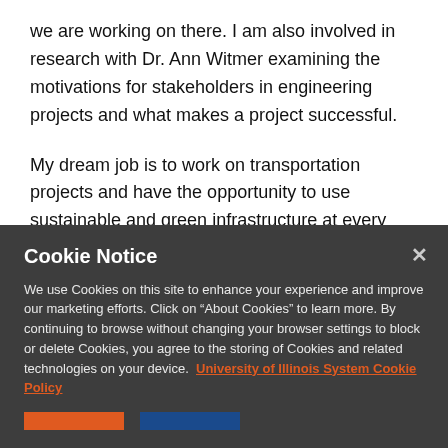we are working on there. I am also involved in research with Dr. Ann Witmer examining the motivations for stakeholders in engineering projects and what makes a project successful.
My dream job is to work on transportation projects and have the opportunity to use sustainable and green infrastructure at every point possible. Utilizing solar panels, permeable pavements, and transportation
Cookie Notice
We use Cookies on this site to enhance your experience and improve our marketing efforts. Click on “About Cookies” to learn more. By continuing to browse without changing your browser settings to block or delete Cookies, you agree to the storing of Cookies and related technologies on your device. University of Illinois System Cookie Policy